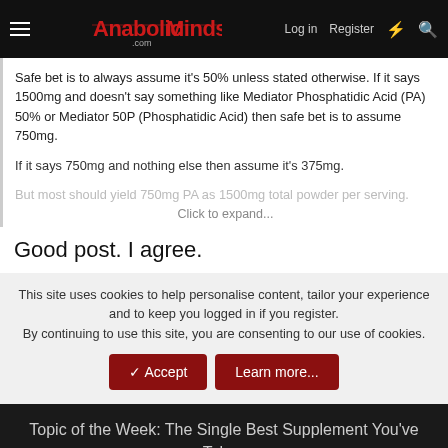AnabolicMinds.com — Log in | Register
Safe bet is to always assume it's 50% unless stated otherwise. If it says 1500mg and doesn't say something like Mediator Phosphatidic Acid (PA) 50% or Mediator 50P (Phosphatidic Acid) then safe bet is to assume 750mg.
If it says 750mg and nothing else then assume it's 375mg.
But most should yield 750mg PA as 1500mg total powder per serving.
Click to expand...
Good post. I agree.
This site uses cookies to help personalise content, tailor your experience and to keep you logged in if you register.
By continuing to use this site, you are consenting to our use of cookies.
Topic of the Week: The Single Best Supplement You've Taken